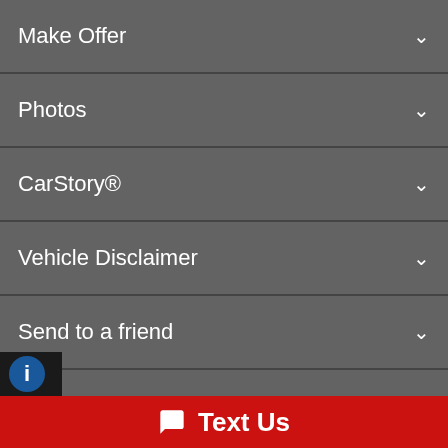Make Offer
Photos
CarStory®
Vehicle Disclaimer
Send to a friend
Printable Brochure
Payment Calculator
Loan Amount ($):
Text Us